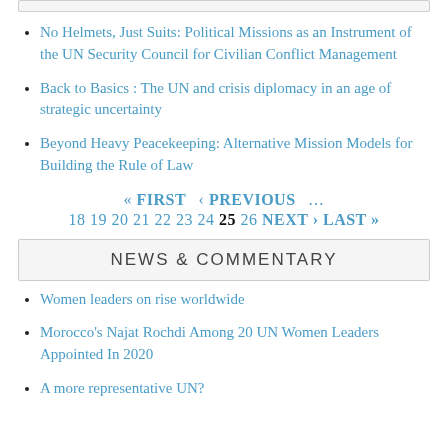No Helmets, Just Suits: Political Missions as an Instrument of the UN Security Council for Civilian Conflict Management
Back to Basics : The UN and crisis diplomacy in an age of strategic uncertainty
Beyond Heavy Peacekeeping: Alternative Mission Models for Building the Rule of Law
« FIRST ‹ PREVIOUS … 18 19 20 21 22 23 24 25 26 NEXT › LAST »
NEWS & COMMENTARY
Women leaders on rise worldwide
Morocco's Najat Rochdi Among 20 UN Women Leaders Appointed In 2020
A more representative UN?